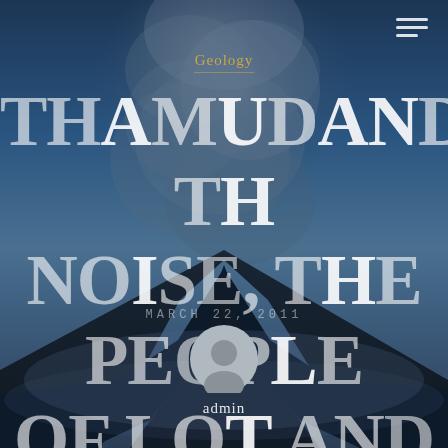[Figure (photo): Volcanic eruption photograph showing a large eruption column of ash and smoke rising from a volcano against a dark blue sky backdrop. The volcano silhouette is visible in the lower portion of the image.]
Geology
THE MUD AND THE NOISE, THE PEOPLE OF LOT AND THE HURRICANES OF ROCKS
MARCH 22, 2011
[Figure (illustration): Circular user avatar / profile icon showing a generic person silhouette in grey tones]
admin